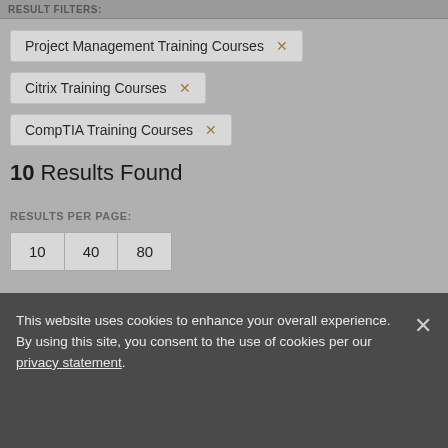RESULT FILTERS:
Project Management Training Courses ×
Citrix Training Courses ×
CompTIA Training Courses ×
10 Results Found
RESULTS PER PAGE:
10  40  80
SORT BY:
Date: Newest to Oldest
This website uses cookies to enhance your overall experience. By using this site, you consent to the use of cookies per our privacy statement.